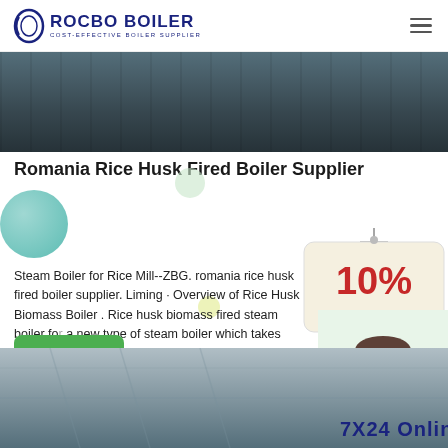ROCBO BOILER — COST-EFFECTIVE BOILER SUPPLIER
[Figure (photo): Industrial boiler machinery photo at top of article]
Romania Rice Husk Fired Boiler Supplier
Steam Boiler for Rice Mill--ZBG. romania rice husk fired boiler supplier. Liming · Overview of Rice Husk Biomass Boiler . Rice husk biomass fired steam boiler for a new type of steam boiler which takes rice husks as its fuel. It
[Figure (infographic): 10% DISCOUNT badge hanging sign]
[Figure (photo): Customer support agent with headset]
[Figure (photo): Industrial facility bottom photo with 7X24 Online text overlay]